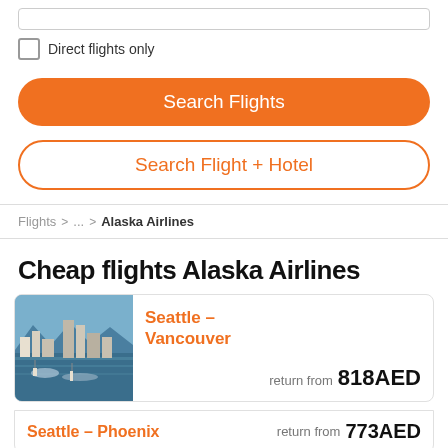Direct flights only
Search Flights
Search Flight + Hotel
Flights > ... > Alaska Airlines
Cheap flights Alaska Airlines
Seattle – Vancouver  return from 818AED
Seattle – Phoenix  return from 773AED